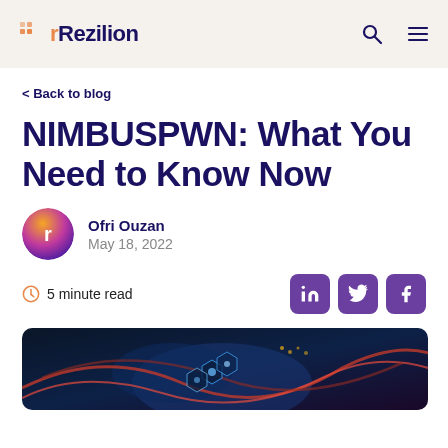Rezilion
< Back to blog
NIMBUSPWN: What You Need to Know Now
Ofri Ouzan
May 18, 2022
5 minute read
[Figure (photo): Dark blue cybersecurity themed hero image with glowing network nodes and red fiber-like connections]